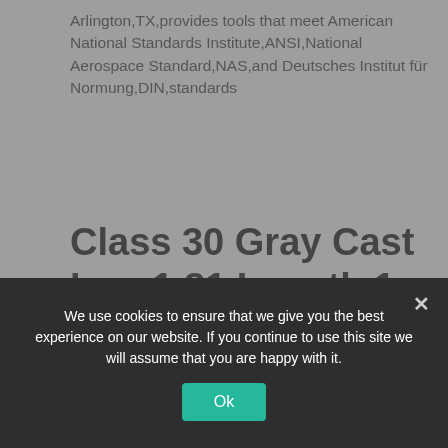Arlington,TX,provides tools that meet American National Standards Institute,ANSI,National Aerospace Standard,NAS,and Deutsches Institut für Normung,DIN,standards
Class 30 Gray Cast Iron 1.81 Length 1 Bore 2.187 OD Martin SD 1 Quick Disconnect Bushing Inch
We use cookies to ensure that we give you the best experience on our website. If you continue to use this site we will assume that you are happy with it.